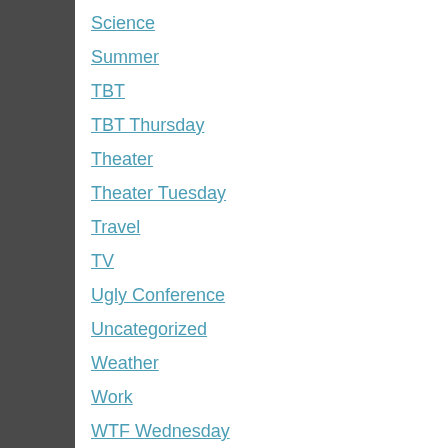Science
Summer
TBT
TBT Thursday
Theater
Theater Tuesday
Travel
TV
Ugly Conference
Uncategorized
Weather
Work
WTF Wednesday
Meta